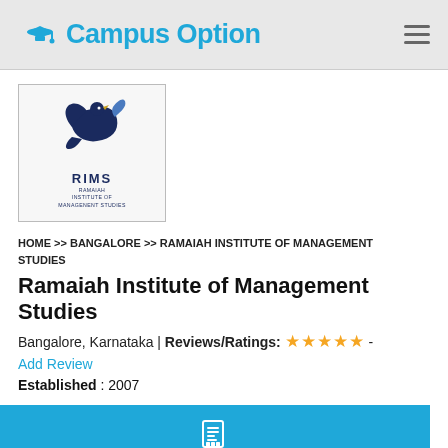Campus Option
[Figure (logo): RIMS - Ramaiah Institute of Management Studies logo with blue/navy eagle/bird emblem]
HOME >> BANGALORE >> RAMAIAH INSTITUTE OF MANAGEMENT STUDIES
Ramaiah Institute of Management Studies
Bangalore, Karnataka | Reviews/Ratings: ★★★★★ - Add Review
Established : 2007
Overview